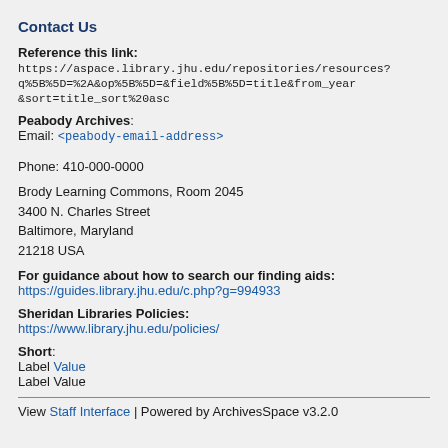Contact Us
Reference this link:
https://aspace.library.jhu.edu/repositories/resources?q%5B%5D=%2A&op%5B%5D=&field%5B%5D=title&from_year&sort=title_sort%20asc
Peabody Archives:
Email: <peabody-email-address>
Phone: 410-000-0000
Brody Learning Commons, Room 2045
3400 N. Charles Street
Baltimore, Maryland
21218 USA
For guidance about how to search our finding aids:
https://guides.library.jhu.edu/c.php?g=994933
Sheridan Libraries Policies:
https://www.library.jhu.edu/policies/
Short:
Label Value
Label Value
View Staff Interface | Powered by ArchivesSpace v3.2.0